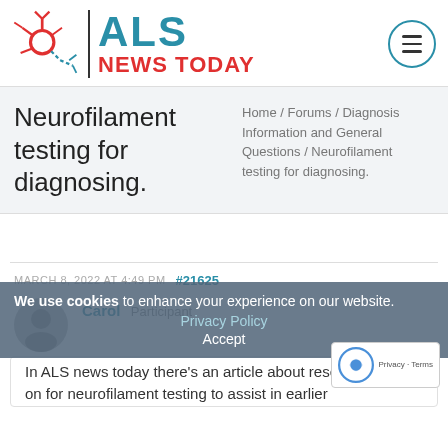ALS NEWS TODAY
Neurofilament testing for diagnosing.
Home / Forums / Diagnosis Information and General Questions / Neurofilament testing for diagnosing.
MARCH 8, 2022 AT 4:49 PM  #21625
Carol  Participant
We use cookies to enhance your experience on our website.
Privacy Policy
Accept
In ALS news today there's an article about research going on for neurofilament testing to assist in earlier